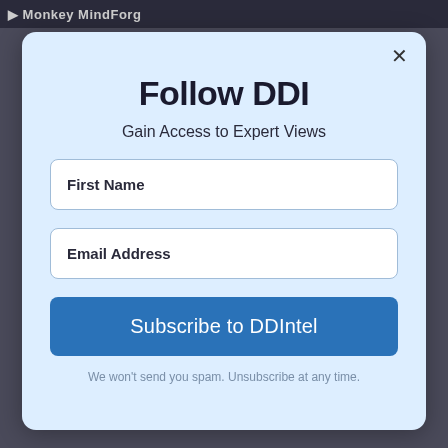Monkey MindForg
Follow DDI
Gain Access to Expert Views
First Name
Email Address
Subscribe to DDIntel
We won't send you spam. Unsubscribe at any time.